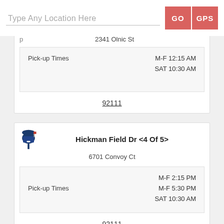[Figure (screenshot): Search bar with placeholder text 'Type Any Location Here' and two buttons: GO and GPS in salmon/red color]
2341 Olnic St
Pick-up Times  M-F 12:15 AM
 SAT 10:30 AM
92111
Hickman Field Dr <4 Of 5>
6701 Convoy Ct
Pick-up Times  M-F 2:15 PM
 M-F 5:30 PM
 SAT 10:30 AM
92111